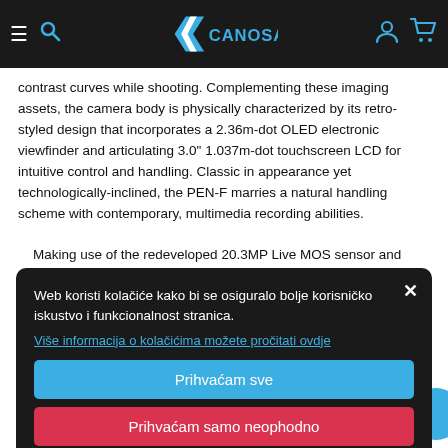CANOSA navigation bar with hamburger menu, search icon, logo, user icon, cart icon
contrast curves while shooting. Complementing these imaging assets, the camera body is physically characterized by its retro-styled design that incorporates a 2.36m-dot OLED electronic viewfinder and articulating 3.0" 1.037m-dot touchscreen LCD for intuitive control and handling. Classic in appearance yet technologically-inclined, the PEN-F marries a natural handling scheme with contemporary, multimedia recording abilities. Making use of the redeveloped 20.3MP Live MOS sensor and sensor-shift image stabilization, the PEN-F also sees the inclusion of a high-res shot mode that composites 16 high-res images in unique positions to produce a 50MP image. An electronic shutter function can be used for completely silent performance, and also provides fast shutter speed times up to 1/16,000 sec. for working in bright conditions with wide-aperture settings. An intervalometer function can be used to produce time-lapse movies, which can be exported at 4K UHD resolution, for
Web koristi kolačiće kako bi se osiguralo bolje korisničko iskustvo i funkcionalnost stranica.
Više informacija o kolačićima možete pročitati ovdje
Prihvaćam sve
Prihvaćam samo neophodno